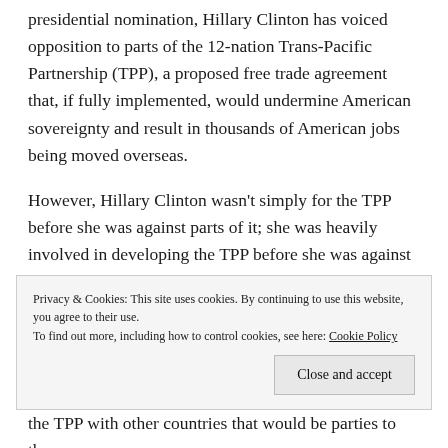presidential nomination, Hillary Clinton has voiced opposition to parts of the 12-nation Trans-Pacific Partnership (TPP), a proposed free trade agreement that, if fully implemented, would undermine American sovereignty and result in thousands of American jobs being moved overseas.
However, Hillary Clinton wasn't simply for the TPP before she was against parts of it; she was heavily involved in developing the TPP before she was against parts of it. To prove this point, International Business Times, a business news website, linked to seven leaked diplomatic cables from September 2009
Privacy & Cookies: This site uses cookies. By continuing to use this website, you agree to their use.
To find out more, including how to control cookies, see here: Cookie Policy
Close and accept
the TPP with other countries that would be parties to the